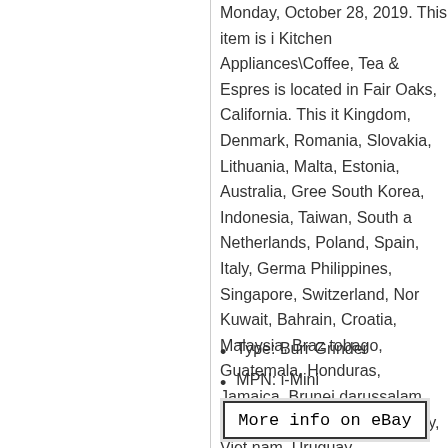Monday, October 28, 2019. This item is in Kitchen Appliances\Coffee, Tea & Espresso. is located in Fair Oaks, California. This it Kingdom, Denmark, Romania, Slovakia, Lithuania, Malta, Estonia, Australia, Gree South Korea, Indonesia, Taiwan, South a Netherlands, Poland, Spain, Italy, Germa Philippines, Singapore, Switzerland, Nor Kuwait, Bahrain, Croatia, Malaysia, Braz tobago, Guatemala, Honduras, Jamaica, Brunei darussalam, Bolivia, Ecuador, Eg Paraguay, Viet nam, Uruguay.
Type: Burr Grinder
MPN: i-Mini
Brand: Ascaso
[Figure (screenshot): Button labeled 'More info on eBay' with black border on light gray background]